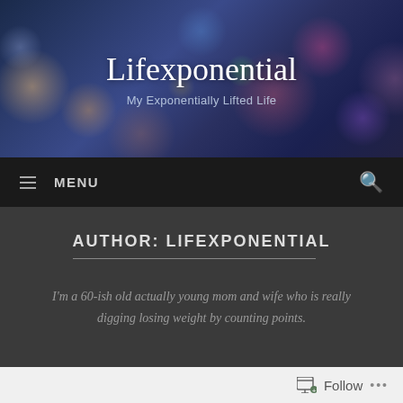[Figure (screenshot): Blog header banner with bokeh bokeh light effect background showing colorful blurred city lights in blue, orange, pink tones]
Lifexponential
My Exponentially Lifted Life
≡ MENU
AUTHOR: LIFEXPONENTIAL
I'm a 60-ish old actually young mom and wife who is really digging losing weight by counting points.
Follow ...